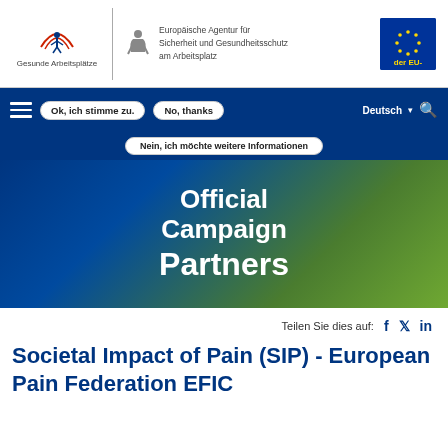[Figure (logo): Gesunde Arbeitsplätz logo (worker figure with arc) and EU-OSHA agency logo with text 'Europäische Agentur für Sicherheit und Gesundheitsschutz am Arbeitsplatz' and EU flag badge]
Ok, ich stimme zu. | No, thanks | Deutsch | Search
Nein, ich möchte weitere Informationen
[Figure (illustration): Hero banner with text 'Official Campaign Partners' on blue-green gradient background]
Teilen Sie dies auf:
Societal Impact of Pain (SIP) - European Pain Federation EFIC